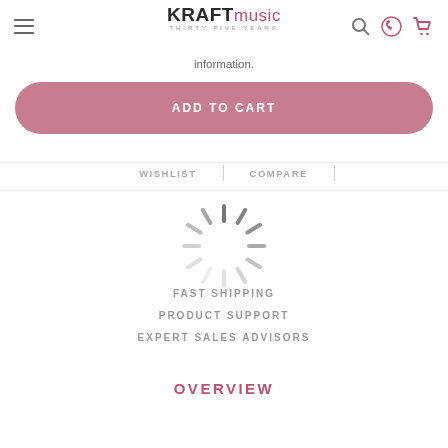Kraft Music - Thirty Five Years
information.
ADD TO CART
WISHLIST | COMPARE
[Figure (other): Loading spinner animation overlay]
FAST SHIPPING
PRODUCT SUPPORT
EXPERT SALES ADVISORS
OVERVIEW